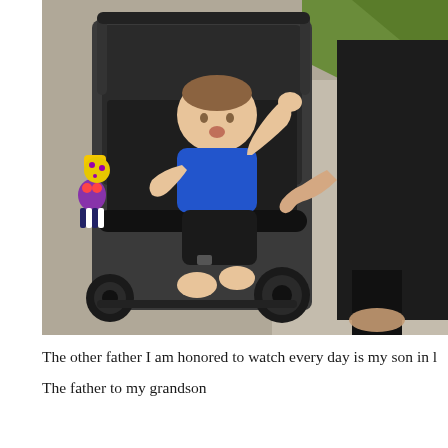[Figure (photo): A baby in a blue shirt sitting in a dark gray stroller on a sidewalk, reaching up to hold the hand of an adult standing to the right. Colorful toy animals hang on the left side of the stroller. Green grass is visible in the upper right background.]
The other father I am honored to watch every day is my son in l
The father to my grandson